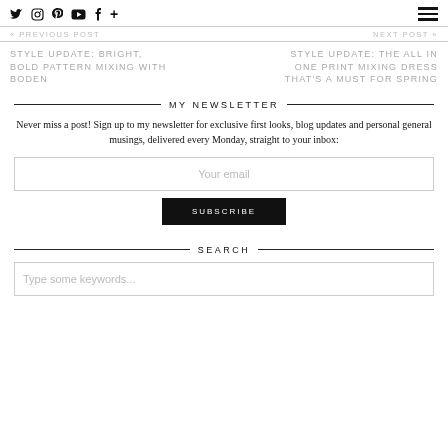Social icons: Twitter, Instagram, Pinterest, YouTube, Facebook, Plus | Hamburger menu
« PREVIOUS POST   NEXT POST »
STYLE UPDATE: BRIGHT, BOLD PATTERN MIXING WITH BODEN
STYLE UPDATE: THE ALL IN ONE PRINT MIXING DRESS THAT'S A MUST FOR SPRING
MY NEWSLETTER
Never miss a post! Sign up to my newsletter for exclusive first looks, blog updates and personal general musings, delivered every Monday, straight to your inbox:
Your email
SUBSCRIBE
SEARCH
Type some keywords...